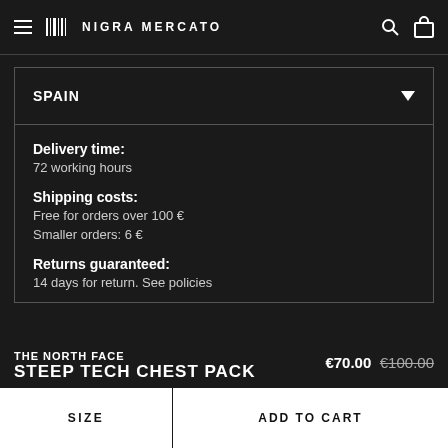NIGRA MERCATO
SPAIN
Delivery time:
72 working hours
Shipping costs:
Free for orders over 100 €
Smaller orders: 6 €
Returns guaranteed:
14 days for return. See policies
THE NORTH FACE
STEEP TECH CHEST PACK
€70.00 €100.00
SIZE
ADD TO CART